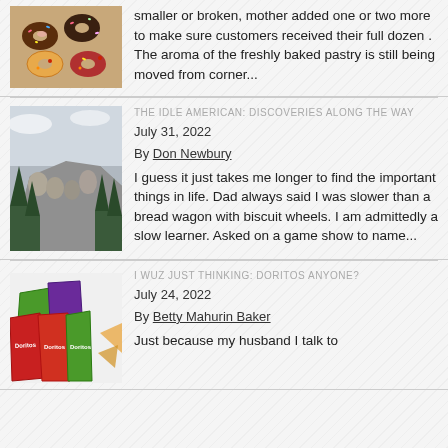[Figure (photo): Photo of assorted donuts with chocolate and pink frosting]
smaller or broken, mother added one or two more to make sure customers received their full dozen . The aroma of the freshly baked pastry is still being moved from corner...
[Figure (photo): Photo of Mount Rushmore with trees in foreground]
THE IDLE AMERICAN: DISCOVERIES ALONG THE WAY
July 31, 2022
By Don Newbury
I guess it just takes me longer to find the important things in life. Dad always said I was slower than a bread wagon with biscuit wheels. I am admittedly a slow learner. Asked on a game show to name...
[Figure (photo): Photo of various Doritos chip bags in green, purple, and red]
I WUZ JUST THINKING: DORITOS ANYONE?
July 24, 2022
By Betty Mahurin Baker
Just because my husband I talk to